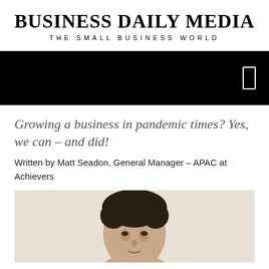BUSINESS DAILY MEDIA
THE SMALL BUSINESS WORLD
[Figure (other): Black navigation bar with a white smartphone/menu icon on the right side]
Growing a business in pandemic times? Yes, we can – and did!
Written by Matt Seadon, General Manager – APAC at Achievers
[Figure (photo): Headshot photo of a man with dark hair against a light beige background, cropped to show head and upper shoulders]